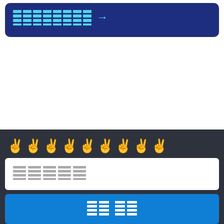[Figure (infographic): Dark blue rounded card with a pixelated/redacted blue grid pattern followed by a right arrow, on a dark navy background]
[Figure (infographic): Row of nine victory/peace hand emoji icons on a dark charcoal background]
[Figure (infographic): White card containing a gray pixelated/redacted grid pattern]
[Figure (infographic): Blue bottom bar containing a white pixelated/redacted two-column grid pattern]